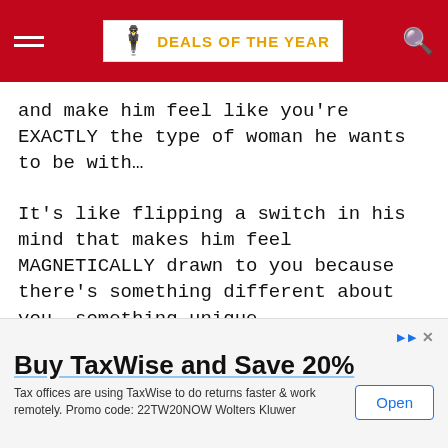DEALS OF THE YEAR
and make him feel like you’re EXACTLY the type of woman he wants to be with…
It’s like flipping a switch in his mind that makes him feel MAGNETICALLY drawn to you because there’s something different about you… something unique.
He won’t be able to figure out what it is about you, he’ll
We use cookies on our website to give you the most ant experience by remembering your preferences and
Buy TaxWise and Save 20%
Tax offices are using TaxWise to do returns faster & work remotely. Promo code: 22TW20NOW Wolters Kluwer